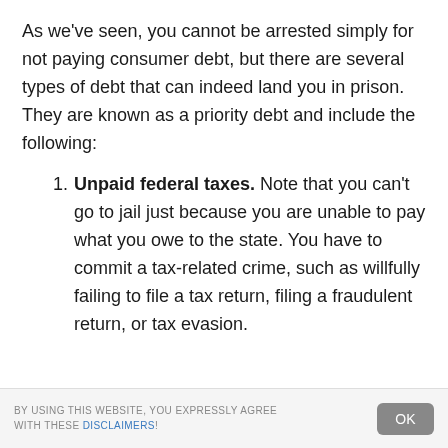As we've seen, you cannot be arrested simply for not paying consumer debt, but there are several types of debt that can indeed land you in prison. They are known as a priority debt and include the following:
Unpaid federal taxes. Note that you can't go to jail just because you are unable to pay what you owe to the state. You have to commit a tax-related crime, such as willfully failing to file a tax return, filing a fraudulent return, or tax evasion.
BY USING THIS WEBSITE, YOU EXPRESSLY AGREE WITH THESE DISCLAIMERS!